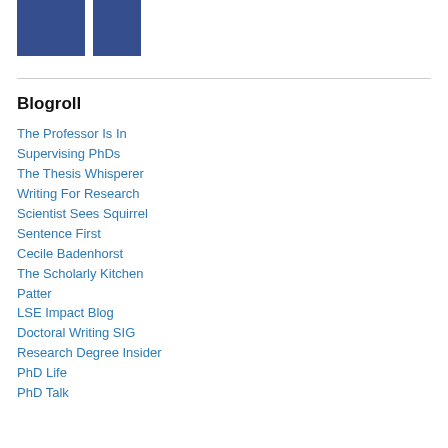[Figure (logo): Two blue rectangular logo blocks side by side]
Blogroll
The Professor Is In
Supervising PhDs
The Thesis Whisperer
Writing For Research
Scientist Sees Squirrel
Sentence First
Cecile Badenhorst
The Scholarly Kitchen
Patter
LSE Impact Blog
Doctoral Writing SIG
Research Degree Insider
PhD Life
PhD Talk